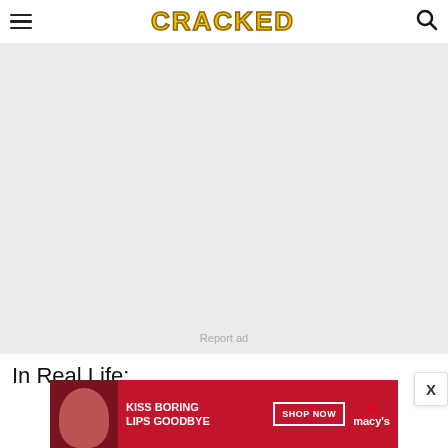CRACKED
[Figure (other): Gray ad placeholder rectangle with 'Report ad' text in center-bottom]
In Real Life:
[Figure (other): Macy's advertisement banner: 'KISS BORING LIPS GOODBYE' with woman's face and red lips, SHOP NOW button and Macy's star logo]